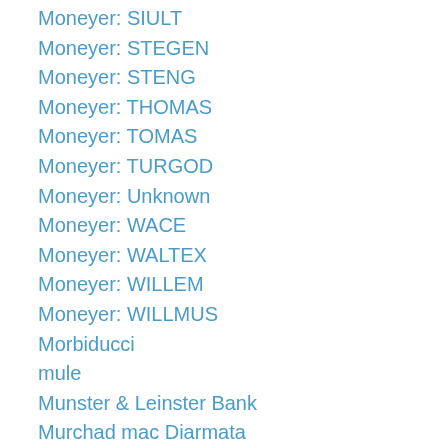Moneyer: SIULT
Moneyer: STEGEN
Moneyer: STENG
Moneyer: THOMAS
Moneyer: TOMAS
Moneyer: TURGOD
Moneyer: Unknown
Moneyer: WACE
Moneyer: WALTEX
Moneyer: WILLEM
Moneyer: WILLMUS
Morbiducci
mule
Munster & Leinster Bank
Murchad mac Diarmata
Naas
Nickel-Silver
nine pence
Northumbria
notaphily